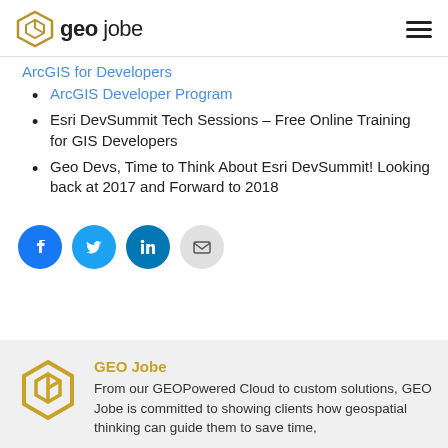geo jobe
ArcGIS for Developers (link, truncated)
ArcGIS Developer Program
Esri DevSummit Tech Sessions – Free Online Training for GIS Developers
Geo Devs, Time to Think About Esri DevSummit! Looking back at 2017 and Forward to 2018
[Figure (infographic): Social share buttons: Facebook (blue), Twitter (light blue), LinkedIn (dark blue), Email (gray)]
GEO Jobe
From our GEOPowered Cloud to custom solutions, GEO Jobe is committed to showing clients how geospatial thinking can guide them to save time,